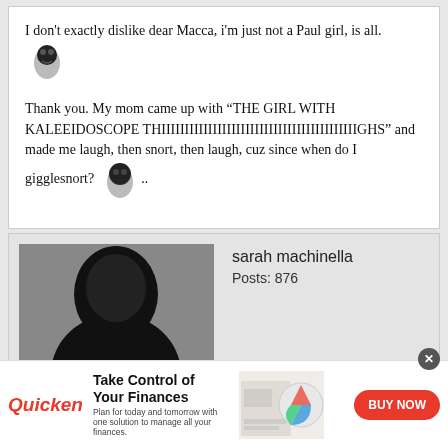I don't exactly dislike dear Macca, i'm just not a Paul girl, is all. [emoji face]
Thank you. My mom came up with “THE GIRL WITH KALEEIDOSCOPE THIIIIIIIIIIIIIIIIIIIIIIIIIIIIIIIIIIIIIIIIIIGHS” and made me laugh, then snort, then laugh, cuz since when do I gigglesnort? [emoji face] ..
sarah machinella
Posts: 876
[Figure (photo): Black and white silhouette profile photo of a person with dark hair]
Take Control of Your Finances
Plan for today and tomorrow with one solution to manage all your finances.
Quicken | BUY NOW